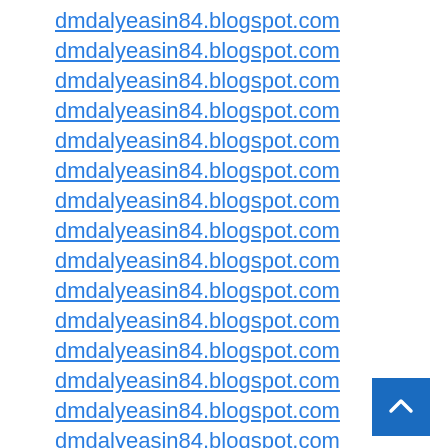dmdalyeasin84.blogspot.com
dmdalyeasin84.blogspot.com
dmdalyeasin84.blogspot.com
dmdalyeasin84.blogspot.com
dmdalyeasin84.blogspot.com
dmdalyeasin84.blogspot.com
dmdalyeasin84.blogspot.com
dmdalyeasin84.blogspot.com
dmdalyeasin84.blogspot.com
dmdalyeasin84.blogspot.com
dmdalyeasin84.blogspot.com
dmdalyeasin84.blogspot.com
dmdalyeasin84.blogspot.com
dmdalyeasin84.blogspot.com
dmdalyeasin84.blogspot.com
dmdalyeasin84.blogspot.com
dmdalyeasin84.blogspot.com